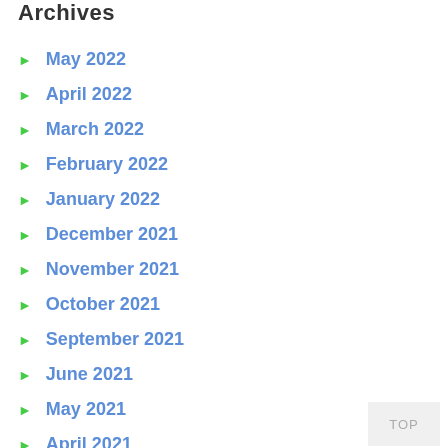Archives
May 2022
April 2022
March 2022
February 2022
January 2022
December 2021
November 2021
October 2021
September 2021
June 2021
May 2021
April 2021
March 2021
February 2021